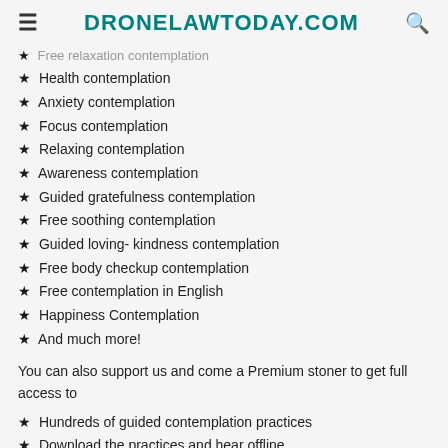DRONELAWTODAY.COM
Free relaxation contemplation
Health contemplation
Anxiety contemplation
Focus contemplation
Relaxing contemplation
Awareness contemplation
Guided gratefulness contemplation
Free soothing contemplation
Guided loving- kindness contemplation
Free body checkup contemplation
Free contemplation in English
Happiness Contemplation
And much more!
You can also support us and come a Premium stoner to get full access to
Hundreds of guided contemplation practices
Download the practices and hear offline